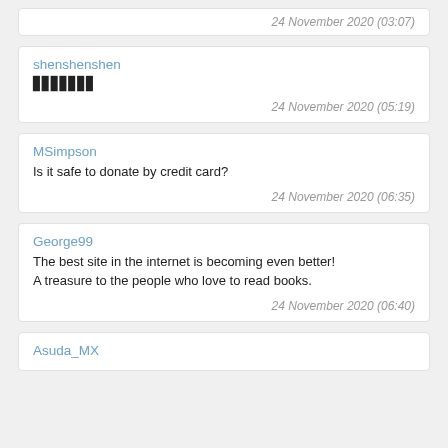24 November 2020 (03:07)
shenshenshen
▉▉▉▉▉▉▉
24 November 2020 (05:19)
MSimpson
Is it safe to donate by credit card?
24 November 2020 (06:35)
George99
The best site in the internet is becoming even better! A treasure to the people who love to read books.
24 November 2020 (06:40)
Asuda_MX